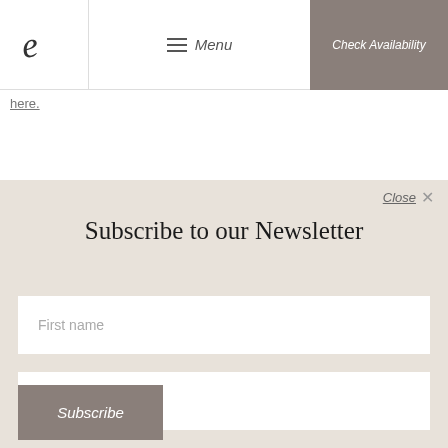Menu | Check Availability
here.
Shortmarket Club
Subscribe to our Newsletter
First name
Email address
Subscribe